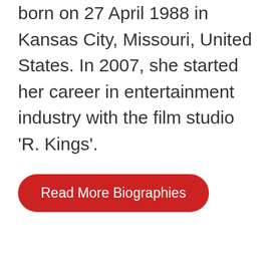born on 27 April 1988 in Kansas City, Missouri, United States. In 2007, she started her career in entertainment industry with the film studio 'R. Kings'.
Read More Biographies